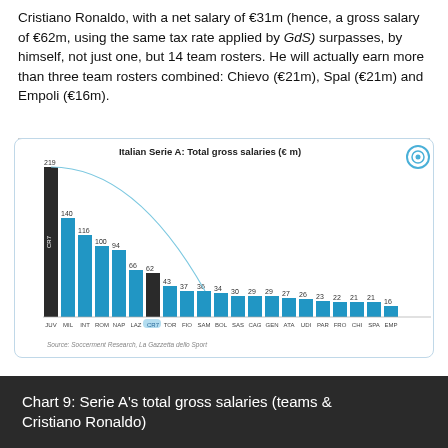Cristiano Ronaldo, with a net salary of €31m (hence, a gross salary of €62m, using the same tax rate applied by GdS) surpasses, by himself, not just one, but 14 team rosters. He will actually earn more than three team rosters combined: Chievo (€21m), Spal (€21m) and Empoli (€16m).
[Figure (bar-chart): Italian Serie A: Total gross salaries (€ m)]
Chart 9: Serie A's total gross salaries (teams & Cristiano Ronaldo)